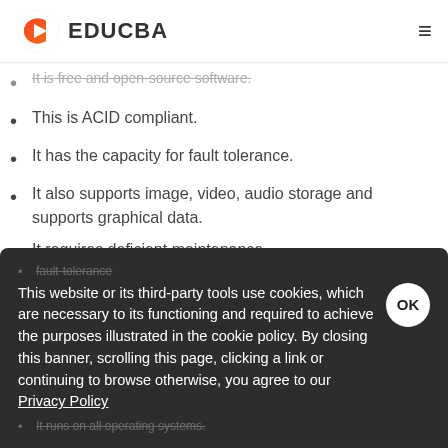EDUCBA
It is free and open-source software.
This is ACID compliant.
It has the capacity for fault tolerance.
It also supports image, video, audio storage and supports graphical data.
It requires deficient maintenance.
It supports Multi-version concurrency control
This website or its third-party tools use cookies, which are necessary to its functioning and required to achieve the purposes illustrated in the cookie policy. By closing this banner, scrolling this page, clicking a link or continuing to browse otherwise, you agree to our Privacy Policy
fault-tolerance
It runs on all operating systems.